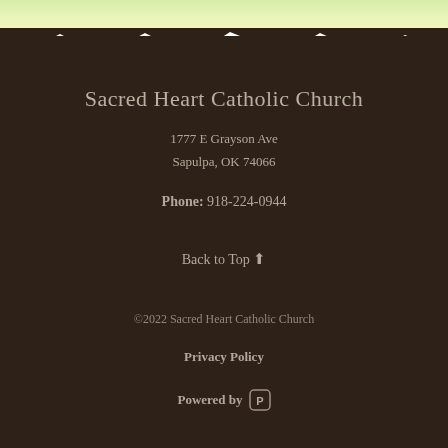[Figure (illustration): Light green watercolor/gradient banner at the top of the page, transitioning into a dark brown footer section with a torn paper edge effect.]
Sacred Heart Catholic Church
1777 E Grayson Ave
Sapulpa, OK 74066
Phone: 918-224-0944
Back to Top ↑
©2022 Sacred Heart Catholic Church
Privacy Policy
Powered by [Pi logo]